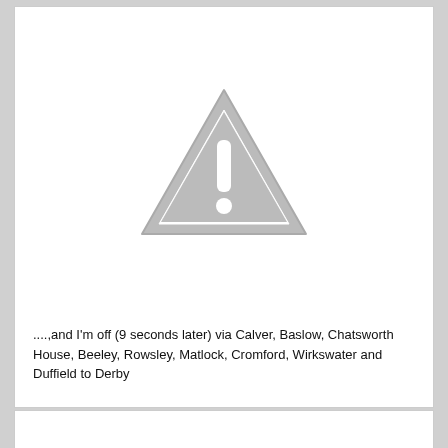[Figure (illustration): A grey warning/caution triangle icon with an exclamation mark inside, on a white background.]
....,and I'm off (9 seconds later) via Calver, Baslow, Chatsworth House, Beeley, Rowsley, Matlock, Cromford, Wirkswater and Duffield to Derby